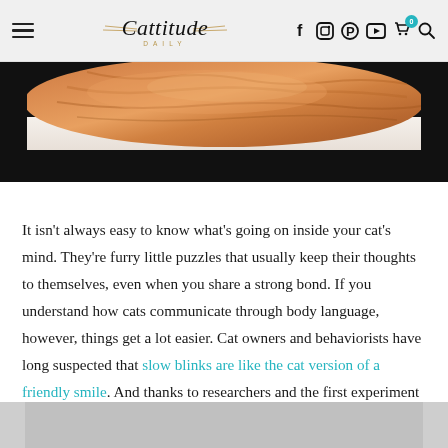Cattitude Daily
[Figure (photo): Orange tabby cat lying down, partial view, on white background, flanked by dark borders]
It isn't always easy to know what's going on inside your cat's mind. They're furry little puzzles that usually keep their thoughts to themselves, even when you share a strong bond. If you understand how cats communicate through body language, however, things get a lot easier. Cat owners and behaviorists have long suspected that slow blinks are like the cat version of a friendly smile. And thanks to researchers and the first experiment of its kind, we have scientific proof that it's true.